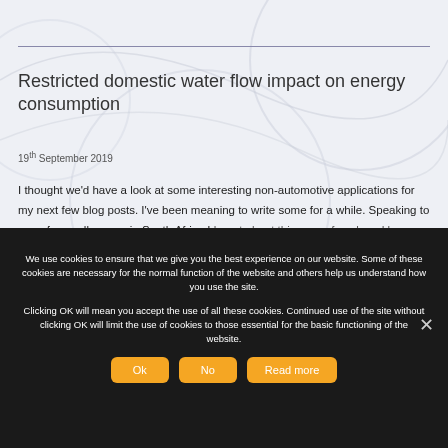Restricted domestic water flow impact on energy consumption
19th September 2019
I thought we'd have a look at some interesting non-automotive applications for my next few blog posts. I've been meaning to write some for a while. Speaking to one of my colleagues in South Africa I learnt about this area of work and low-restriction flow which...
We use cookies to ensure that we give you the best experience on our website. Some of these cookies are necessary for the normal function of the website and others help us understand how you use the site. Clicking OK will mean you accept the use of all these cookies. Continued use of the site without clicking OK will limit the use of cookies to those essential for the basic functioning of the website.